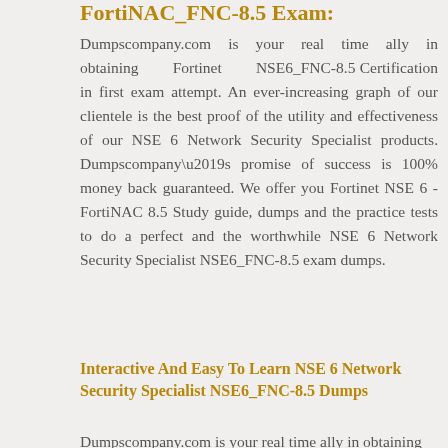FortiNAC_FNC-8.5 Exam:
Dumpscompany.com is your real time ally in obtaining Fortinet NSE6_FNC-8.5 Certification in first exam attempt. An ever-increasing graph of our clientele is the best proof of the utility and effectiveness of our NSE 6 Network Security Specialist products. Dumpscompany’s promise of success is 100% money back guaranteed. We offer you Fortinet NSE 6 - FortiNAC 8.5 Study guide, dumps and the practice tests to do a perfect and the worthwhile NSE 6 Network Security Specialist NSE6_FNC-8.5 exam dumps.
Interactive And Easy To Learn NSE 6 Network Security Specialist NSE6_FNC-8.5 Dumps
Dumpscompany.com is your real time ally in obtaining